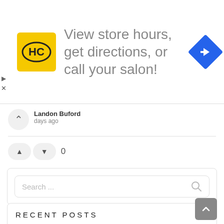[Figure (screenshot): HC Salon advertisement banner with yellow HC logo, text 'View store hours, get directions, or call your salon!', and a blue navigation/directions diamond icon on the right. Small play and X close controls on the left edge.]
Landon Buford
days ago
[Figure (screenshot): Upvote and downvote buttons (triangles) with vote count of 0]
[Figure (screenshot): Search widget with search input box showing 'Search ...' placeholder and a search icon]
RECENT POSTS